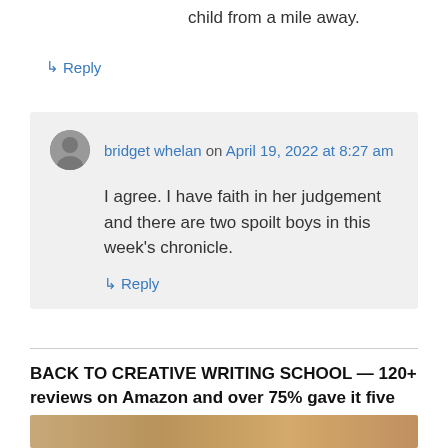child from a mile away.
↳ Reply
bridget whelan on April 19, 2022 at 8:27 am
I agree. I have faith in her judgement and there are two spoilt boys in this week's chronicle.
↳ Reply
BACK TO CREATIVE WRITING SCHOOL — 120+ reviews on Amazon and over 75% gave it five stars
[Figure (photo): Partial view of a book cover with warm brown/tan tones]